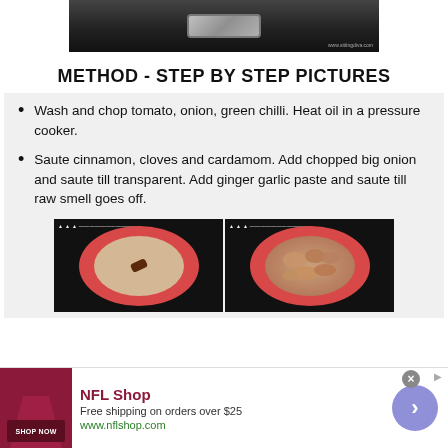[Figure (photo): Top portion of a pressure cooker lid, partially cropped, dark background]
METHOD - STEP BY STEP PICTURES
Wash and chop tomato, onion, green chilli. Heat oil in a pressure cooker.
Saute cinnamon, cloves and cardamom. Add chopped big onion and saute till transparent. Add ginger garlic paste and saute till raw smell goes off.
[Figure (photo): Two side-by-side step photos showing a pressure cooker pan on a stove: left shows cinnamon/spice, right shows sauteed onions]
[Figure (photo): NFL Shop advertisement banner: dark red box with product image, NFL Shop text, free shipping offer, shop now button, and circular arrow button]